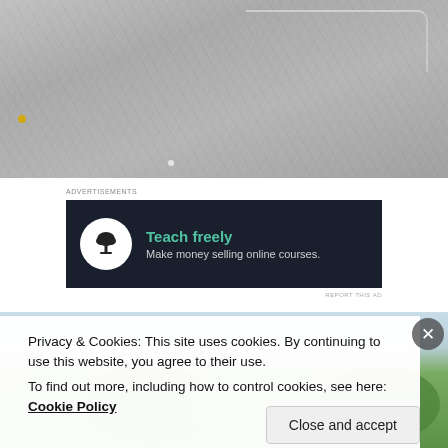[Figure (photo): Overhead view of a concrete surface with cracks and texture, showing a corner junction. A small yellow dot is visible on the lower left area.]
Advertisements
[Figure (screenshot): Advertisement banner with dark background. Shows a tree/bonsai icon in a white circle on the left, and text 'Teach freely' in teal/green and 'Make money selling online courses.' in white on the right.]
REPORT THIS AD
[Figure (photo): Partial view of trees and sky, green foliage visible at top of lower image section.]
Privacy & Cookies: This site uses cookies. By continuing to use this website, you agree to their use.
To find out more, including how to control cookies, see here: Cookie Policy
Close and accept